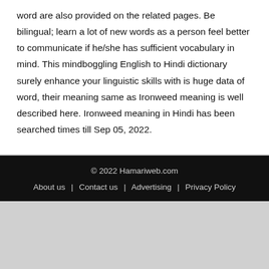word are also provided on the related pages. Be bilingual; learn a lot of new words as a person feel better to communicate if he/she has sufficient vocabulary in mind. This mindboggling English to Hindi dictionary surely enhance your linguistic skills with is huge data of word, their meaning same as Ironweed meaning is well described here. Ironweed meaning in Hindi has been searched times till Sep 05, 2022.
© 2022 Hamariweb.com | About us | Contact us | Advertising | Privacy Policy